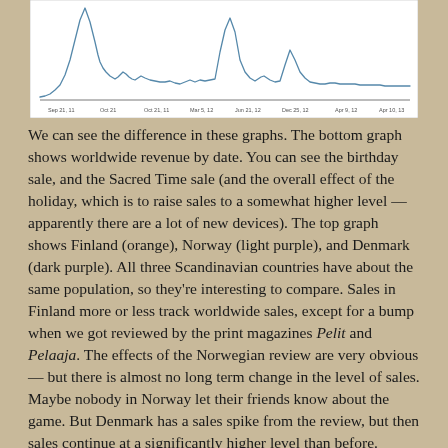[Figure (continuous-plot): Line chart showing worldwide revenue by date, with two prominent spikes and a generally low baseline. The x-axis shows dates and the y-axis shows revenue values.]
We can see the difference in these graphs. The bottom graph shows worldwide revenue by date. You can see the birthday sale, and the Sacred Time sale (and the overall effect of the holiday, which is to raise sales to a somewhat higher level — apparently there are a lot of new devices). The top graph shows Finland (orange), Norway (light purple), and Denmark (dark purple). All three Scandinavian countries have about the same population, so they're interesting to compare. Sales in Finland more or less track worldwide sales, except for a bump when we got reviewed by the print magazines Pelit and Pelaaja. The effects of the Norwegian review are very obvious — but there is almost no long term change in the level of sales. Maybe nobody in Norway let their friends know about the game. But Denmark has a sales spike from the review, but then sales continue at a significantly higher level than before.
I don't really have an explanation as to why these countries have such different responses to the game. But I think this